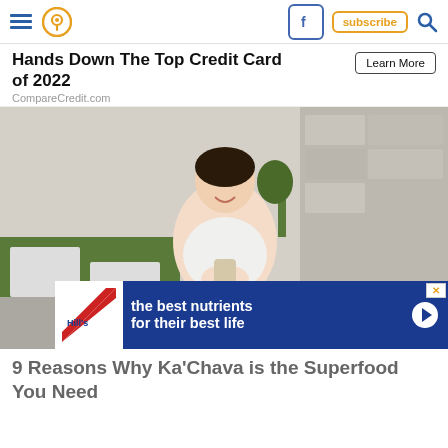Navigation bar with hamburger menu, location pin icon, Facebook icon, subscribe button, search icon
Hands Down The Top Credit Card of 2022
CompareCredit.com
[Figure (photo): Woman in white athletic wear sitting cross-legged on a yoga mat outdoors, smiling and holding a bottle, with a Ka'Chava bag in front of her]
[Figure (infographic): Hill's pet food advertisement banner: 'the best nutrients for their best life' with Hill's logo]
9 Reasons Why Ka'Chava is the Superfood You Need